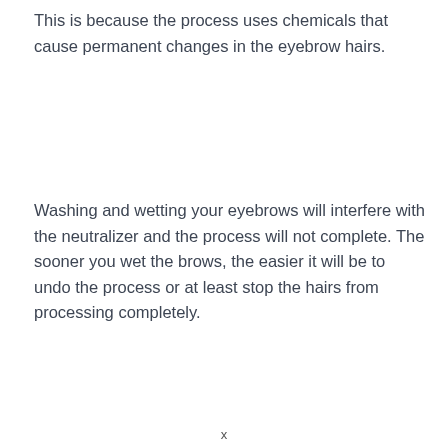This is because the process uses chemicals that cause permanent changes in the eyebrow hairs.
Washing and wetting your eyebrows will interfere with the neutralizer and the process will not complete. The sooner you wet the brows, the easier it will be to undo the process or at least stop the hairs from processing completely.
x